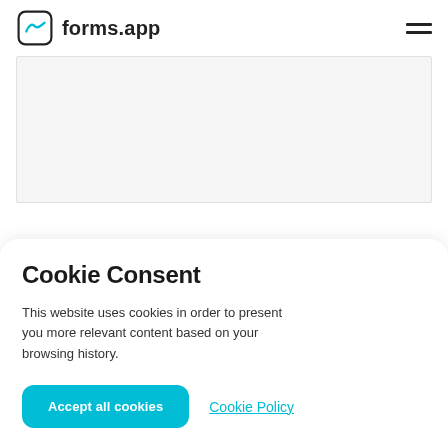forms.app
[Figure (screenshot): Grey content preview area representing a webpage screenshot]
Cookie Consent
This website uses cookies in order to present you more relevant content based on your browsing history.
Accept all cookies
Cookie Policy